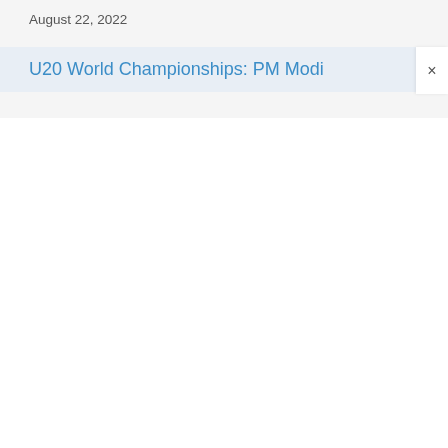August 22, 2022
U20 World Championships: PM Modi